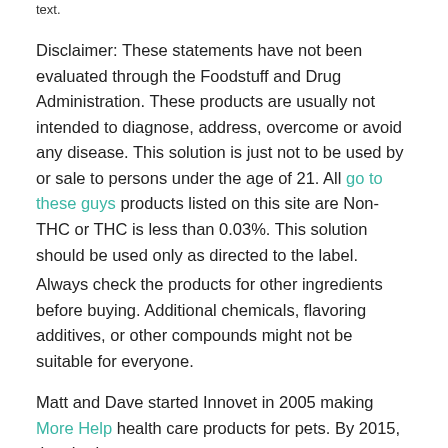text.
Disclaimer: These statements have not been evaluated through the Foodstuff and Drug Administration. These products are usually not intended to diagnose, address, overcome or avoid any disease. This solution is just not to be used by or sale to persons under the age of 21. All go to these guys products listed on this site are Non-THC or THC is less than 0.03%. This solution should be used only as directed to the label.
Always check the products for other ingredients before buying. Additional chemicals, flavoring additives, or other compounds might not be suitable for everyone.
Matt and Dave started Innovet in 2005 making More Help health care products for pets. By 2015, they had